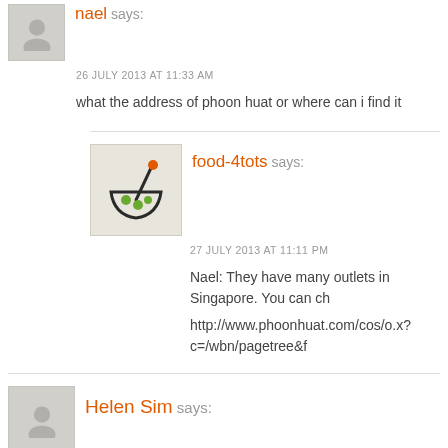nael says:
26 JULY 2013 AT 11:33 AM
what the address of phoon huat or where can i find it
food-4tots says:
27 JULY 2013 AT 11:11 PM
Nael: They have many outlets in Singapore. You can ch http://www.phoonhuat.com/cos/o.x?c=/wbn/pagetree&f
Helen Sim says:
17 APRIL 2011 AT 4:20 PM
Hi,